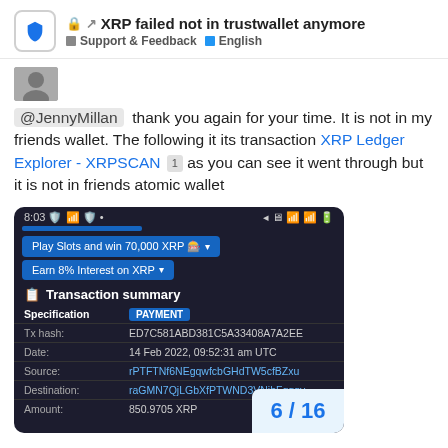🔒 ↗ XRP failed not in trustwallet anymore | Support & Feedback | English
[Figure (screenshot): Forum post avatar thumbnail]
@JennyMillan thank you again for your time. It is not in my friends wallet. The following it its transaction XRP Ledger Explorer - XRPSCAN 1 as you can see it went through but it is not in friends atomic wallet
[Figure (screenshot): Mobile app screenshot showing XRP transaction summary with ads for 'Play Slots and win 70,000 XRP' and 'Earn 8% Interest on XRP', and Transaction summary table with fields: Specification: PAYMENT, Tx hash: ED7C581ABD381C5A33408A7A2EE, Date: 14 Feb 2022, 09:52:31 am UTC, Source: rPTFTNf6NEgqwfcbGHdTW5cfBZxu, Destination: raGMN7QjLGbXfPTWND3VNihFqgqv, Amount: (partial)]
6 / 16